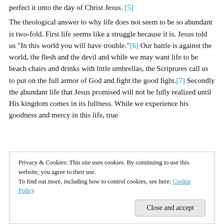perfect it unto the day of Christ Jesus. [5]
The theological answer to why life does not seem to be so abundant is two-fold. First life seems like a struggle because it is. Jesus told us “In this world you will have trouble.”[6] Our battle is against the world, the flesh and the devil and while we may want life to be beach chairs and drinks with little umbrellas, the Scriptures call us to put on the full armor of God and fight the good fight.[7] Secondly the abundant life that Jesus promised will not be fully realized until His kingdom comes in its fullness. While we experience his goodness and mercy in this life, true
Privacy & Cookies: This site uses cookies. By continuing to use this website, you agree to their use.
To find out more, including how to control cookies, see here: Cookie Policy